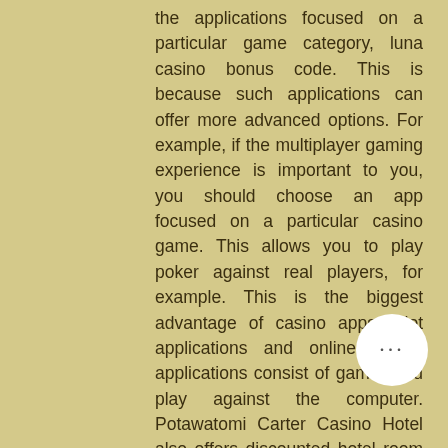the applications focused on a particular game category, luna casino bonus code. This is because such applications can offer more advanced options. For example, if the multiplayer gaming experience is important to you, you should choose an app focused on a particular casino game. This allows you to play poker against real players, for example. This is the biggest advantage of casino apps: Slot applications and online casino applications consist of games you play against the computer. Potawatomi Carter Casino Hotel also offers discounted hotel room rates for tour operators that book overnight trips, luna casino bonus code. From time to time, you may have difficulties using or accessing a feature on a site, online casino ideal nl. It is vital to stay at the top of the chart by designing a website that will attract players from different parts of the target market, licensing your most. Mesu...